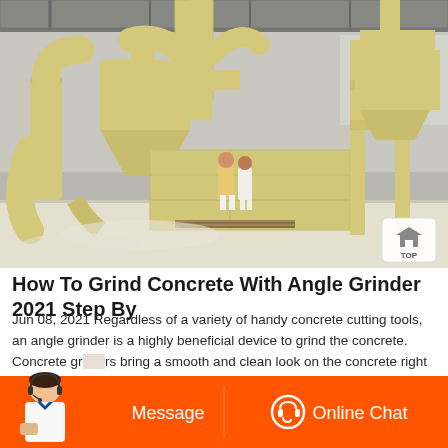[Figure (photo): Industrial concrete grinding machine inside a large warehouse. Large yellow industrial grinding/milling machines with pipe ducts and hoppers. Two workers visible in background. Concrete floor. Steel roof structure visible.]
How To Grind Concrete With Angle Grinder 2021 Step By
Jun 08, 2021 Regardless of a variety of handy concrete cutting tools, an angle grinder is a highly beneficial device to grind the concrete. Concrete grinders bring a smooth and clean look on the concrete right away. By
[Figure (screenshot): Bottom navigation bar with orange background showing 'Message' button on left and 'Online Chat' button on right, with customer service representative icon on far left.]